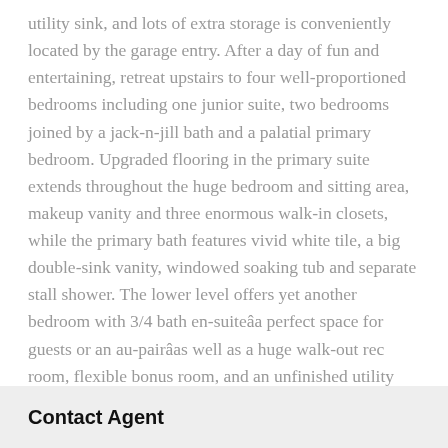utility sink, and lots of extra storage is conveniently located by the garage entry. After a day of fun and entertaining, retreat upstairs to four well-proportioned bedrooms including one junior suite, two bedrooms joined by a jack-n-jill bath and a palatial primary bedroom. Upgraded flooring in the primary suite extends throughout the huge bedroom and sitting area, makeup vanity and three enormous walk-in closets, while the primary bath features vivid white tile, a big double-sink vanity, windowed soaking tub and separate stall shower. The lower level offers yet another bedroom with 3/4 bath en-suiteâa perfect space for guests or an au-pairâas well as a huge walk-out rec room, flexible bonus room, and an unfinished utility room for storage or finishing to your creative vision. All in a sought-after location of this highly regarded community, minutes away from multiple shopping centers and parks, easy commutes, and award winning...
Contact Agent